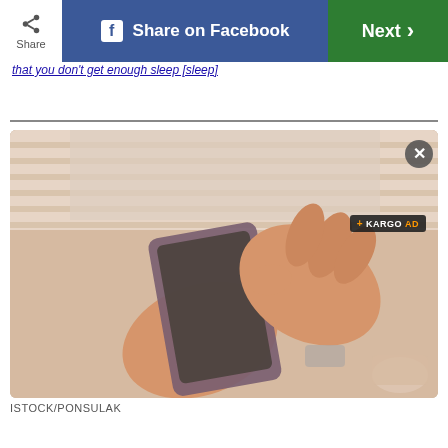Share | Share on Facebook | Next
that you don't get enough sleep [sleep]
[Figure (photo): Close-up of hands holding and using a smartphone, warm vintage tone, person wearing striped shirt, with KARGO AD badge overlay and close button]
ISTOCK/PONSULAK